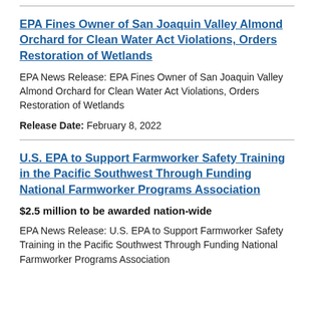EPA Fines Owner of San Joaquin Valley Almond Orchard for Clean Water Act Violations, Orders Restoration of Wetlands
EPA News Release: EPA Fines Owner of San Joaquin Valley Almond Orchard for Clean Water Act Violations, Orders Restoration of Wetlands
Release Date: February 8, 2022
U.S. EPA to Support Farmworker Safety Training in the Pacific Southwest Through Funding National Farmworker Programs Association
$2.5 million to be awarded nation-wide
EPA News Release: U.S. EPA to Support Farmworker Safety Training in the Pacific Southwest Through Funding National Farmworker Programs Association